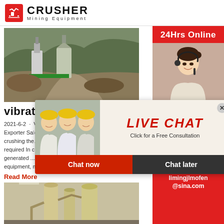[Figure (logo): Crusher Mining Equipment logo with red shopping bag icon and bold CRUSHER text]
[Figure (photo): Outdoor mining/quarry facility with large industrial crushing equipment on hillside]
vibrating
2021-6-2 · Vibrating Screen Manufacturer Exporter Sale ... crushing the ... required In crushing process fine dust below 75 generated ...As a leading global manufacturer of equipment, milling equipment,dressing equipment
Read More
[Figure (photo): Indoor industrial milling/grinding equipment facility]
[Figure (photo): Live Chat popup with agent photos and Chat now / Chat later buttons]
24Hrs Online
[Figure (photo): Customer service agent with headset on red sidebar]
Need questions & suggestion?
Chat Now
Enquiry
limingjlmofen@sina.com